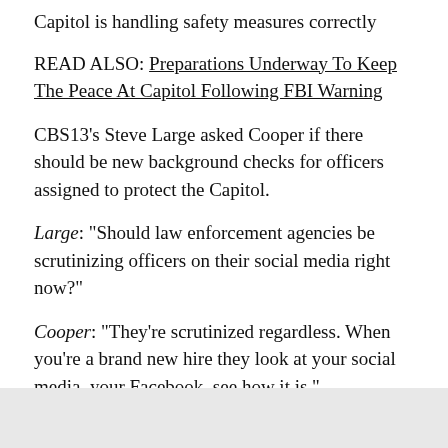Capitol is handling safety measures correctly
READ ALSO: Preparations Underway To Keep The Peace At Capitol Following FBI Warning
CBS13's Steve Large asked Cooper if there should be new background checks for officers assigned to protect the Capitol.
Large: "Should law enforcement agencies be scrutinizing officers on their social media right now?"
Cooper: "They're scrutinized regardless. When you're a brand new hire they look at your social media, your Facebook, see how it is."